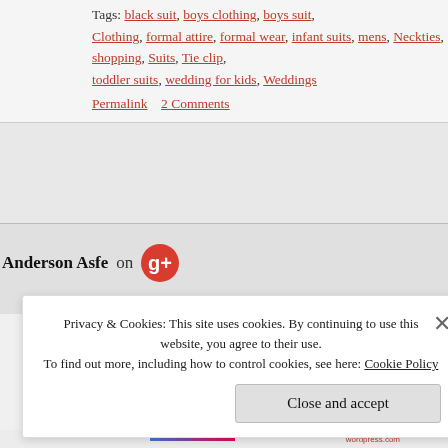Tags: black suit, boys clothing, boys suit, Clothing, formal attire, formal wear, infant suits, mens, Neckties, shopping, Suits, Tie clip, toddler suits, wedding for kids, Weddings
Permalink    2 Comments
Anderson Asfe on [Google+ icon]
Privacy & Cookies: This site uses cookies. By continuing to use this website, you agree to their use.
To find out more, including how to control cookies, see here: Cookie Policy
Close and accept